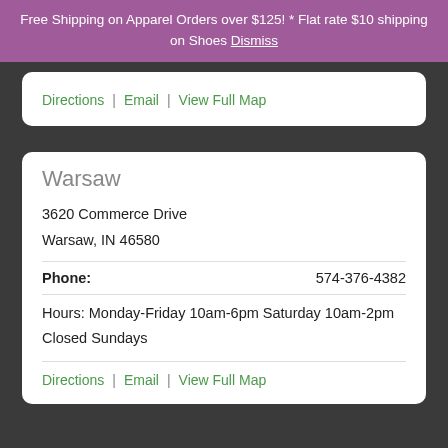Free Shipping on Apparel Orders over $125! * Flat rate $10 shipping on Shoes Dismiss
Directions | Email | View Full Map
Warsaw
3620 Commerce Drive
Warsaw, IN 46580
Phone: 574-376-4382
Hours: Monday-Friday 10am-6pm Saturday 10am-2pm
Closed Sundays
Directions | Email | View Full Map